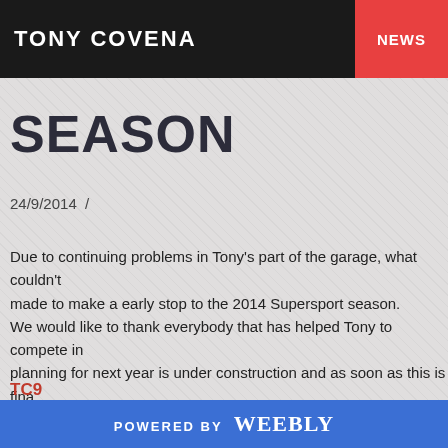TONY COVENA | NEWS
COVENA FORCED TO ST... SEASON
24/9/2014 /
Due to continuing problems in Tony's part of the garage, what couldn't made to make a early stop to the 2014 Supersport season. We would like to thank everybody that has helped Tony to compete in planning for next year is under construction and as soon as this is fina
TC9
[Figure (other): Tweet button]
POWERED BY weebly